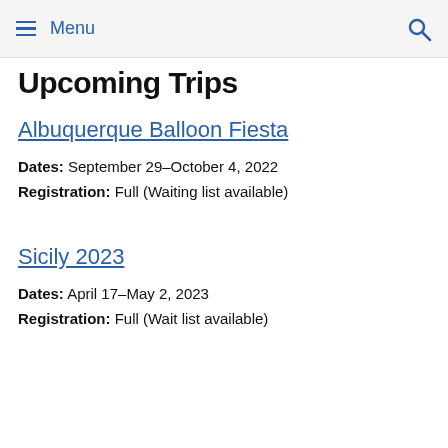Menu
Upcoming Trips
Albuquerque Balloon Fiesta
Dates: September 29–October 4, 2022
Registration: Full (Waiting list available)
Sicily 2023
Dates: April 17–May 2, 2023
Registration: Full (Wait list available)